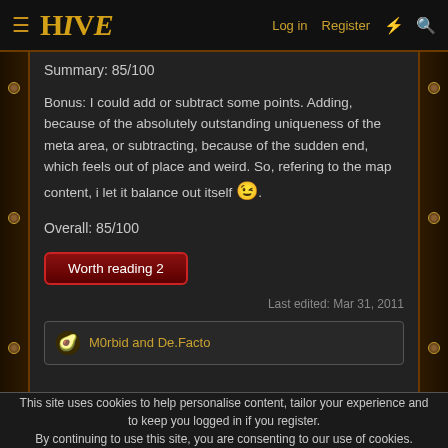HIVE  Log in  Register
Summary: 85/100
Bonus: I could add or subtract some points. Adding, because of the absolutely outstanding uniqueness of the meta area, or subtracting, because of the sudden end, which feels out of place and weird. So, refering to the map content, i let it balance out itself 😉.
Overall: 85/100
Worth reading 2
Last edited: Mar 31, 2011
M0rbid and De.Facto
This site uses cookies to help personalise content, tailor your experience and to keep you logged in if you register.
By continuing to use this site, you are consenting to our use of cookies.